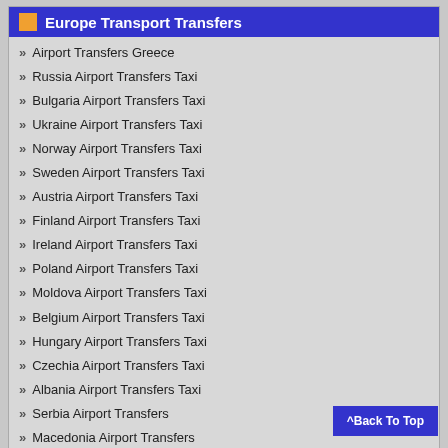Europe Transport Transfers
Airport Transfers Greece
Russia Airport Transfers Taxi
Bulgaria Airport Transfers Taxi
Ukraine Airport Transfers Taxi
Norway Airport Transfers Taxi
Sweden Airport Transfers Taxi
Austria Airport Transfers Taxi
Finland Airport Transfers Taxi
Ireland Airport Transfers Taxi
Poland Airport Transfers Taxi
Moldova Airport Transfers Taxi
Belgium Airport Transfers Taxi
Hungary Airport Transfers Taxi
Czechia Airport Transfers Taxi
Albania Airport Transfers Taxi
Serbia Airport Transfers
Macedonia Airport Transfers
Tenerife Transfers / Shuttle Taxi
Tenerife Airport Transfers
Tenerife Taxi Services
Tenerife Tours | Excursions
Tenerife Airport Shuttle - Buses Tenerife
Tenerife Limousines - VTC